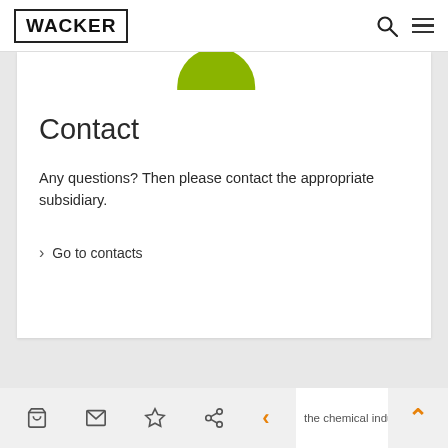WACKER
[Figure (illustration): Green circular icon, partially visible at top of white card]
Contact
Any questions? Then please contact the appropriate subsidiary.
> Go to contacts
WACKER a technological leader in the chemical industry and...